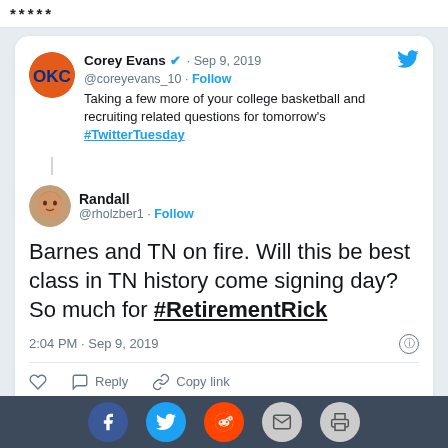*****
[Figure (screenshot): Tweet screenshot from Corey Evans (@coreyevans_10) dated Sep 9, 2019 asking college basketball questions for #TwitterTuesday, with a reply from Randall (@rholzber1) saying: Barnes and TN on fire. Will this be best class in TN history come signing day? So much for #RetirementRick. Posted 2:04 PM Sep 9, 2019.]
Explore what's happening on Twitter